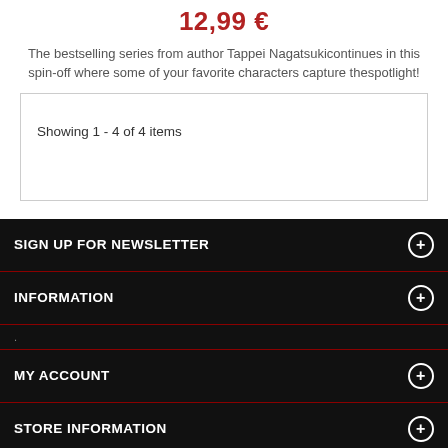12,99 €
The bestselling series from author Tappei Nagatsukicontinues in this spin-off where some of your favorite characters capture thespotlight!
Showing 1 - 4 of 4 items
SIGN UP FOR NEWSLETTER
INFORMATION
MY ACCOUNT
STORE INFORMATION
Sitemap | Privacy | Store Location | Contact Us
Copyright 2022 ToyJapan.